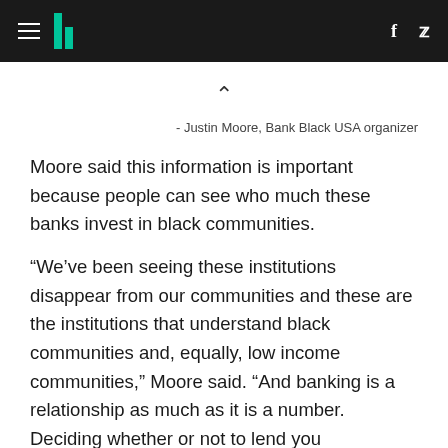HuffPost
^
- Justin Moore, Bank Black USA organizer
Moore said this information is important because people can see who much these banks invest in black communities.
“We’ve been seeing these institutions disappear from our communities and these are the institutions that understand black communities and, equally, low income communities,” Moore said. “And banking is a relationship as much as it is a number. Deciding whether or not to lend you